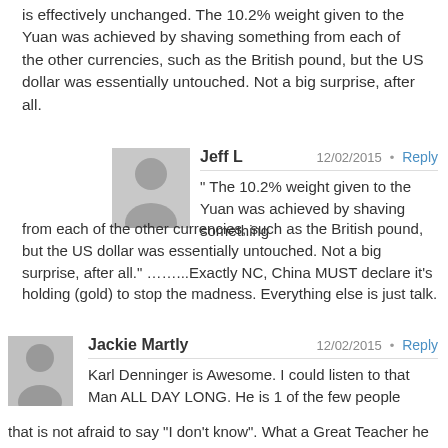is effectively unchanged. The 10.2% weight given to the Yuan was achieved by shaving something from each of the other currencies, such as the British pound, but the US dollar was essentially untouched. Not a big surprise, after all.
Jeff L   12/02/2015 · Reply
" The 10.2% weight given to the Yuan was achieved by shaving something from each of the other currencies, such as the British pound, but the US dollar was essentially untouched. Not a big surprise, after all." ……...Exactly NC, China MUST declare it's holding (gold) to stop the madness. Everything else is just talk.
Jackie Martly   12/02/2015 · Reply
Karl Denninger is Awesome. I could listen to that Man ALL DAY LONG. He is 1 of the few people that is not afraid to say "I don't know". What a Great Teacher he